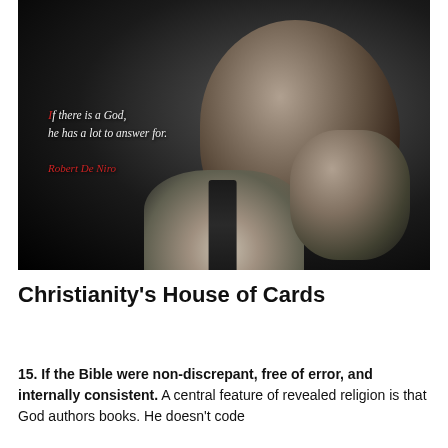[Figure (photo): Black and white dramatic portrait photo of Robert De Niro in dark suit and tie, with quote text overlay: 'If there is a God, he has a lot to answer for.' attributed to Robert De Niro in red italic text.]
Christianity's House of Cards
15. If the Bible were non-discrepant, free of error, and internally consistent. A central feature of revealed religion is that God authors books. He doesn't code